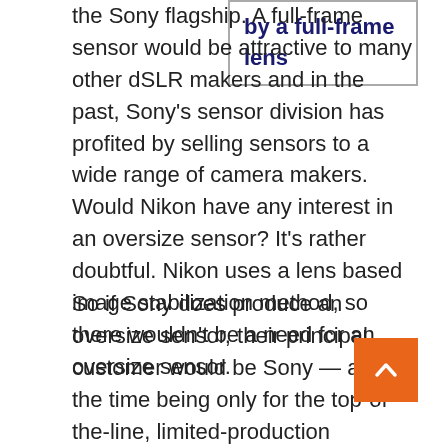the Sony flagship. A full-frame sensor would be attractive to many other dSLR makers and in the past, Sony's sensor division has profited by selling sensors to a wide range of camera makers. Would Nikon have any interest in an oversize sensor? It's rather doubtful. Nikon uses a lens based image stabilization method, so there wouldn't be a need for an oversize sensor.
by a full-frame lens
So if Sony does produce an oversize sensor, their principal customer would be Sony — and for the time being only for the top-of-the-line, limited-production flagship. Would that justify designing and manufacturing an oversize sensor? Or would Sony prefer to invest their resources in a sensor they could sell by the tens of thousands per year, or even sell to other camera makers?